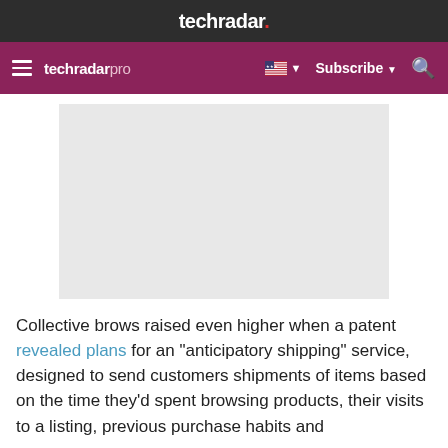techradar.
techradar pro  Subscribe
[Figure (other): Gray rectangular advertisement placeholder block]
Collective brows raised even higher when a patent revealed plans for an "anticipatory shipping" service, designed to send customers shipments of items based on the time they'd spent browsing products, their visits to a listing, previous purchase habits and